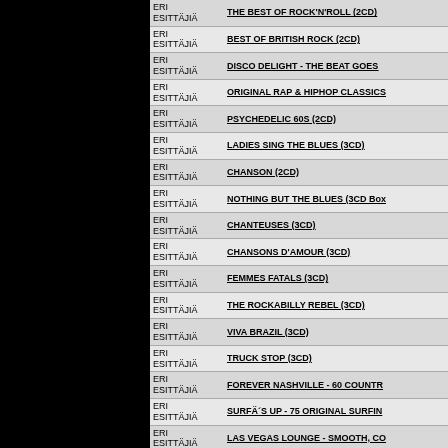| ERI ESITTÄJIÄ | Title |
| --- | --- |
| ERI ESITTÄJIÄ | THE BEST OF ROCK'N'ROLL (2CD) |
| ERI ESITTÄJIÄ | BEST OF BRITISH ROCK (2CD) |
| ERI ESITTÄJIÄ | DISCO DELIGHT - THE BEAT GOES |
| ERI ESITTÄJIÄ | ORIGINAL RAP & HIPHOP CLASSICS |
| ERI ESITTÄJIÄ | PSYCHEDELIC 60S (2CD) |
| ERI ESITTÄJIÄ | LADIES SING THE BLUES (3CD) |
| ERI ESITTÄJIÄ | CHANSON (2CD) |
| ERI ESITTÄJIÄ | NOTHING BUT THE BLUES (3CD Box |
| ERI ESITTÄJIÄ | CHANTEUSES (3CD) |
| ERI ESITTÄJIÄ | CHANSONS D'AMOUR (3CD) |
| ERI ESITTÄJIÄ | FEMMES FATALS (3CD) |
| ERI ESITTÄJIÄ | THE ROCKABILLY REBEL (3CD) |
| ERI ESITTÄJIÄ | VIVA BRAZIL (3CD) |
| ERI ESITTÄJIÄ | TRUCK STOP (3CD) |
| ERI ESITTÄJIÄ | FOREVER NASHVILLE - 60 COUNTR |
| ERI ESITTÄJIÄ | SURFÄ´S UP - 75 ORIGINAL SURFIN |
| ERI ESITTÄJIÄ | LAS VEGAS LOUNGE - SMOOTH, CO |
| ERI ESITTÄJIÄ | BOMBSHELLS & PIN UPS! (3CD Box |